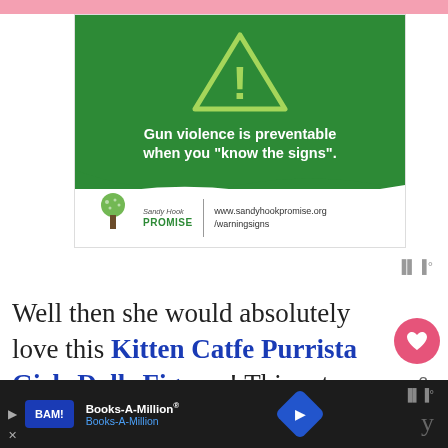[Figure (infographic): Sandy Hook Promise advertisement: green background with yellow warning triangle (exclamation mark), bold white text 'Gun violence is preventable when you "know the signs".', white wave divider, Sandy Hook Promise logo (tree icon) with website www.sandyhookpromise.org/warningsigns]
Well then she would absolutely love this Kitten Catfe Purrista Girls Dolls Figures! This set
[Figure (infographic): Books-A-Million advertisement banner: dark background, BAM! logo in blue box, text 'Books-A-Million® Books-A-Million', blue diamond navigation icon]